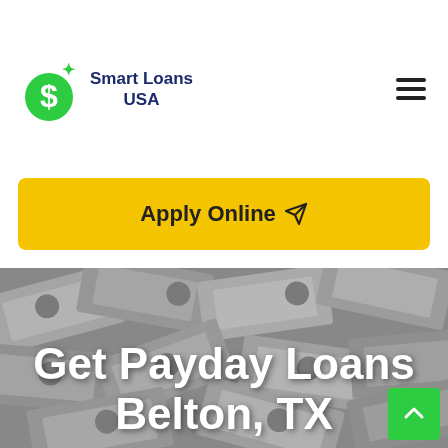[Figure (logo): Smart Loans USA logo with green dollar sign icon and dark blue bold text]
Apply Online
[Figure (photo): Background of scattered US dollar bills in grayscale with bold white text overlay reading 'Get Payday Loans Belton, TX']
Get Payday Loans Belton, TX